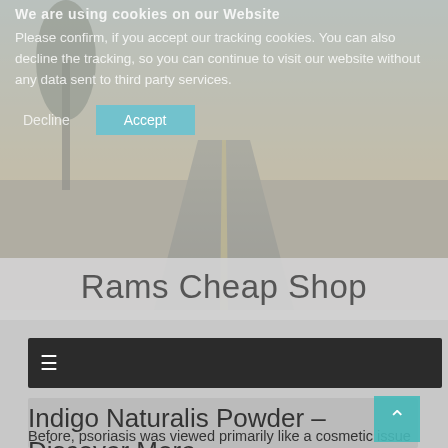We are using cookies on our Website
Please confirm, if you accept our tracking cookies. You can also decline the tracking, so you can continue to visit our website without any data sent to third party services.
Decline   Accept
Rams Cheap Shop
[Figure (screenshot): Dark navigation bar with hamburger menu icon]
Indigo Naturalis Powder – Discover More..
[Figure (photo): Article preview image area, grey box with scroll-to-top teal button]
Before, psoriasis was viewed primarily like a cosmetic issue